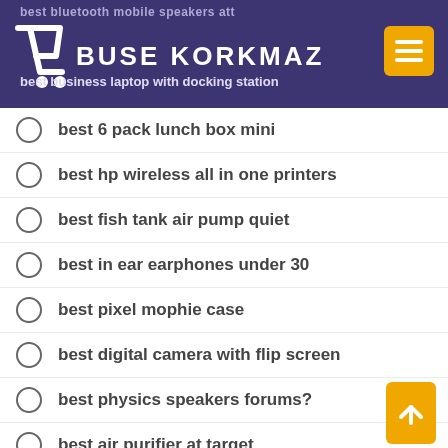BUSE KORKMAZ
best bluetooth mobile speakers att
best business laptop with docking station
best 6 pack lunch box mini
best hp wireless all in one printers
best fish tank air pump quiet
best in ear earphones under 30
best pixel mophie case
best digital camera with flip screen
best physics speakers forums?
best air purifier at target
best epson printers for art prints
best laptops with ssd under 700